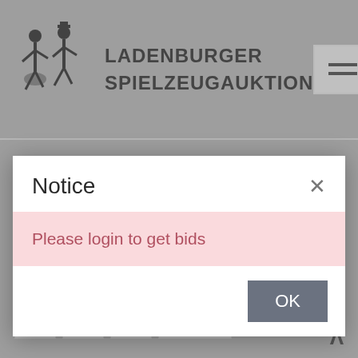LADENBURGER SPIELZEUGAUKTION
[Figure (screenshot): Mobile website screenshot showing a modal dialog with 'Notice' title and 'Please login to get bids' error message, along with pagination buttons at the bottom]
Notice
Please login to get bids
OK